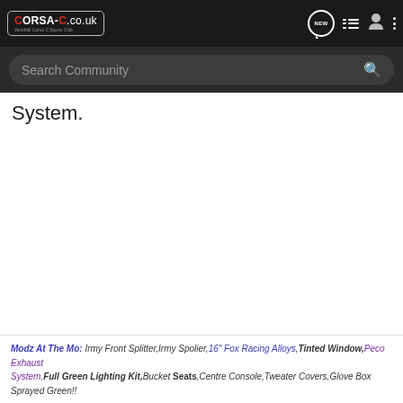CORSA-C.co.uk - Vauxhall Corsa C Sports Club [nav: NEW, list, user, more]
Search Community
System.
Modz At The Mo: Irmy Front Splitter,Irmy Spolier,16" Fox Racing Alloys,Tinted Window,Peco Exhaust System,Full Green Lighting Kit,Bucket Seats,Centre Console,Tweater Covers,Glove Box Sprayed Green!!